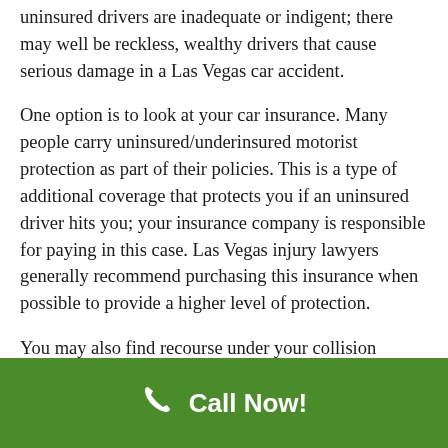uninsured drivers are inadequate or indigent; there may well be reckless, wealthy drivers that cause serious damage in a Las Vegas car accident.
One option is to look at your car insurance. Many people carry uninsured/underinsured motorist protection as part of their policies. This is a type of additional coverage that protects you if an uninsured driver hits you; your insurance company is responsible for paying in this case. Las Vegas injury lawyers generally recommend purchasing this insurance when possible to provide a higher level of protection.
You may also find recourse under your collision coverage. This coverage typically...
Call Now!